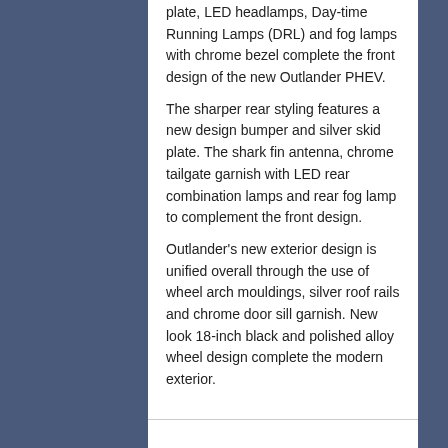plate, LED headlamps, Day-time Running Lamps (DRL) and fog lamps with chrome bezel complete the front design of the new Outlander PHEV.
The sharper rear styling features a new design bumper and silver skid plate. The shark fin antenna, chrome tailgate garnish with LED rear combination lamps and rear fog lamp to complement the front design.
Outlander's new exterior design is unified overall through the use of wheel arch mouldings, silver roof rails and chrome door sill garnish. New look 18-inch black and polished alloy wheel design complete the modern exterior.